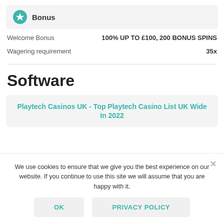Bonus
| Field | Value |
| --- | --- |
| Welcome Bonus | 100% UP TO £100, 200 BONUS SPINS |
| Wagering requirement | 35x |
Software
Playtech Casinos UK - Top Playtech Casino List UK Wide In 2022
We use cookies to ensure that we give you the best experience on our website. If you continue to use this site we will assume that you are happy with it.
OK   PRIVACY POLICY